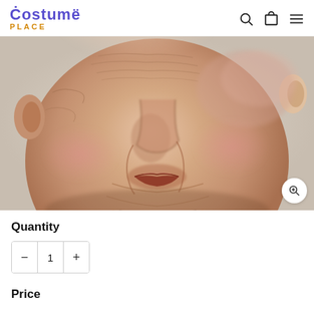Costume Place
[Figure (photo): Close-up photo of a realistic old man latex Halloween face mask showing wrinkled skin, fleshy tones, sunken features, partial view of ears and neck, against a light background.]
Quantity
— 1 +
Price